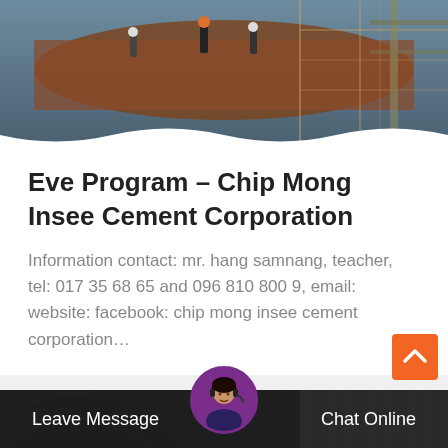[Figure (photo): Industrial/construction scene with workers and large machinery at top of page]
Eve Program – Chip Mong Insee Cement Corporation
Information contact: mr. hang samnang, teacher, tel: 017 35 68 65 and 096 810 800 9, email: website: facebook: chip mong insee cement corporation…
[Figure (photo): Close-up of large industrial machinery/equipment, dark metallic tones]
Leave Message
Chat Online